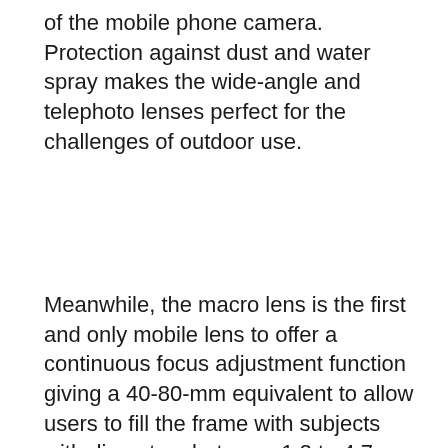of the mobile phone camera. Protection against dust and water spray makes the wide-angle and telephoto lenses perfect for the challenges of outdoor use.
Meanwhile, the macro lens is the first and only mobile lens to offer a continuous focus adjustment function giving a 40-80-mm equivalent to allow users to fill the frame with subjects with diameters between 1.2 to 4.7 inches. An optionally attachable and semi-transparent diffuser serves as a spacer, allowing light to shine evenly on the object and enables convenient focusing.
ExoLens with Optics by ZEISS wide-angle lens kits are available today for $199.95 at Apple® retail stores and Apple.com for the iPhone® 6/6s and iPhone® 6 Plus/6s Plus. These wide-angle lens kits